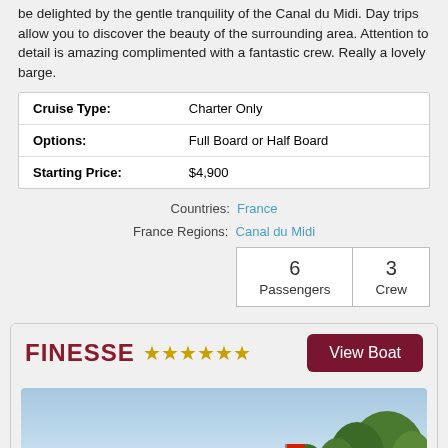be delighted by the gentle tranquility of the Canal du Midi. Day trips allow you to discover the beauty of the surrounding area. Attention to detail is amazing complimented with a fantastic crew. Really a lovely barge.
| Cruise Type: | Charter Only |
| Options: | Full Board or Half Board |
| Starting Price: | $4,900 |
Countries: France
France Regions: Canal du Midi
| 6 Passengers | 3 Crew |
FINESSE ★★★★★★
[Figure (photo): Photo of a barge/boat on a canal, with trees in the background, blue sky, and a flag visible.]